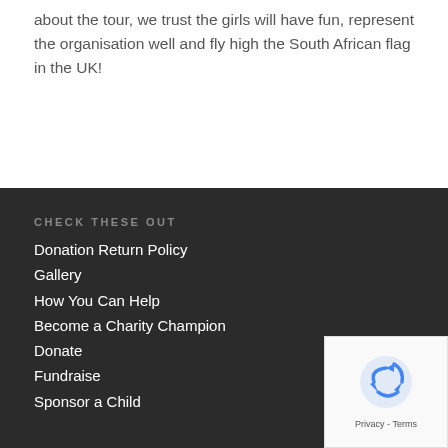about the tour, we trust the girls will have fun, represent the organisation well and fly high the South African flag in the UK!
CHECK THESE OUT
Donation Return Policy
Gallery
How You Can Help
Become a Charity Champion
Donate
Fundraise
Sponsor a Child
[Figure (logo): reCAPTCHA badge with recycling arrow logo and Privacy - Terms text]